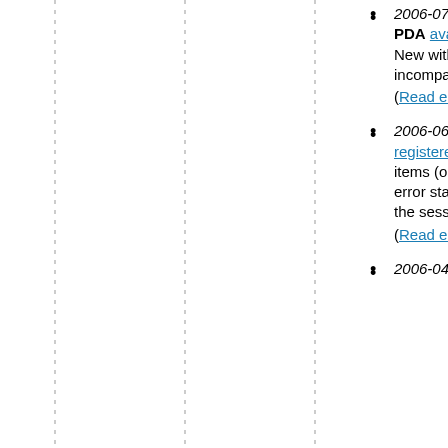2006-07-28 - "Release Candidate 2" Beta 2.9.8.5 for Synthesis SyncML Clients for PDA available for registered users (Bugfix for RC1 Beta 2.9.8.4, see release notes) - New with HTTP and Proxy Authentication, selectable SyncML 1.2, 1.1 or 1.0 for incompatible servers. (Read entire news message)
2006-06-30 - New Beta 2.9.8.1 for Synthesis SyncML Clients for PDA available for registered users - Now fully supports suspend and resume of partially transferred items (only untransmitted part will be transmitted in the next session). Items receiving error status from server will now be re-sent in the next session (rather than aborting the session) (Read entire news message)
2006-04-06 - The long awaited scheduled automatic sync option